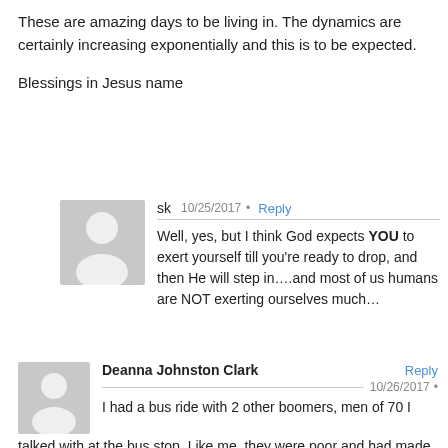These are amazing days to be living in. The dynamics are certainly increasing exponentially and this is to be expected.

Blessings in Jesus name
sk · 10/25/2017 · Reply
Well, yes, but I think God expects YOU to exert yourself till you're ready to drop, and then He will step in….and most of us humans are NOT exerting ourselves much…
Deanna Johnston Clark · Reply · 10/26/2017 ·
I had a bus ride with 2 other boomers, men of 70 I talked with at the bus stop. Like me, they were poor and had made their living with low paid, responsible